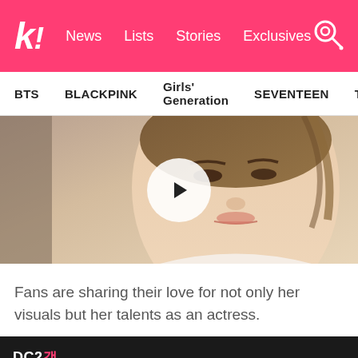k! News Lists Stories Exclusives
BTS  BLACKPINK  Girls' Generation  SEVENTEEN  TWICE
[Figure (screenshot): Close-up photo of a young Asian woman with light makeup, wearing white, hair pulled back. A circular play button overlay is centered on the image.]
Fans are sharing their love for not only her visuals but her talents as an actress.
[Figure (screenshot): Dark/black bottom image strip with DC logo text in white and pink.]